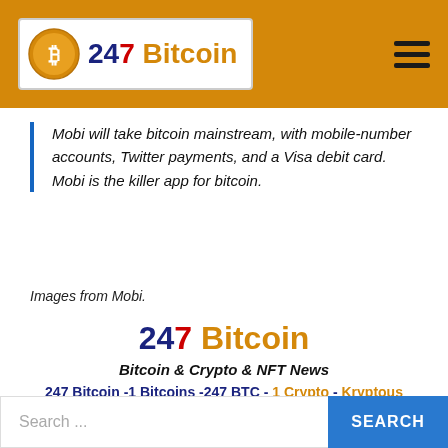247 Bitcoin
Mobi will take bitcoin mainstream, with mobile-number accounts, Twitter payments, and a Visa debit card. Mobi is the killer app for bitcoin.
Images from Mobi.
247 Bitcoin
Bitcoin & Crypto & NFT News
247 Bitcoin -1 Bitcoins -247 BTC - 1 Crypto - Kryptous
1 News - 247 News - 1 Search - 1 eBooks